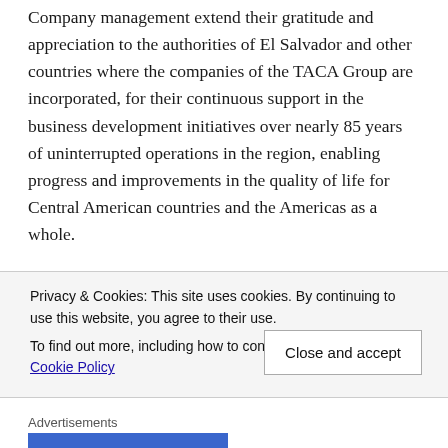Company management extend their gratitude and appreciation to the authorities of El Salvador and other countries where the companies of the TACA Group are incorporated, for their continuous support in the business development initiatives over nearly 85 years of uninterrupted operations in the region, enabling progress and improvements in the quality of life for Central American countries and the Americas as a whole.
Top Copyright Photo: Bruce Drum. The Avianca familiar red brand will once again be updated for the larger group. Airbus A320-214 N446AV (msn 4046) taxies to the gate at Miami International Airport.
Privacy & Cookies: This site uses cookies. By continuing to use this website, you agree to their use.
To find out more, including how to control cookies, see here: Cookie Policy
Close and accept
Advertisements